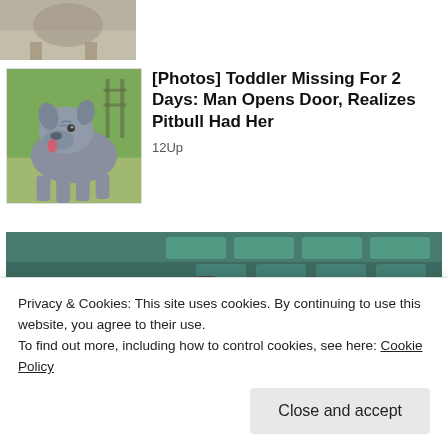[Figure (photo): Partial thumbnail of an article, cropped at top of page]
[Figure (photo): Photo of a grey/blue pitbull dog standing on grass outdoors]
[Photos] Toddler Missing For 2 Days: Man Opens Door, Realizes Pitbull Had Her
12Up
[Figure (photo): Photo of two people wearing sunglasses seated in a stadium or arena — a man with stubble and a woman with brown hair]
Privacy & Cookies: This site uses cookies. By continuing to use this website, you agree to their use.
To find out more, including how to control cookies, see here: Cookie Policy
Close and accept